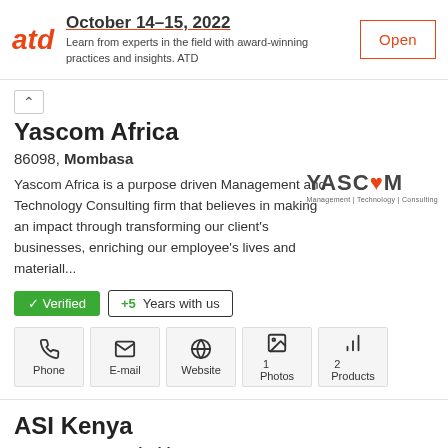[Figure (infographic): ATD ad banner with logo, date October 14-15 2022, description text, and Open button]
Yascom Africa
86098, Mombasa
Yascom Africa is a purpose driven Management and Technology Consulting firm that believes in making an impact through transforming our client's businesses, enriching our employee's lives and materiall...
[Figure (logo): YASCOM Management | Technology | Consulting logo]
✔ Verified  +5 Years with us
Phone  E-mail  Website  Photos 1  Products 2
ASI Kenya
103327-00101, Nairobi
Would you like to do more than some safaris, excursions and sleep in all-inclusive resorts while visiting Kenya? Then volunteering in Kenya can be the right thing for you! Volunteering is an...